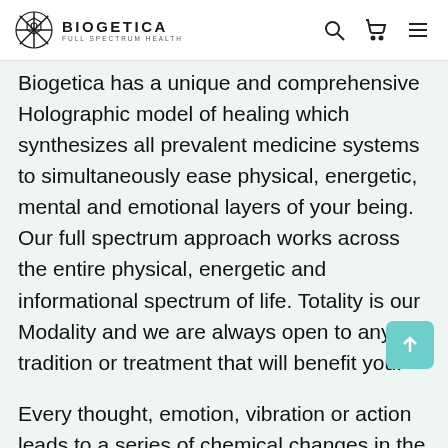BIOGETICA FULL SPECTRUM HEALTH
Biogetica has a unique and comprehensive Holographic model of healing which synthesizes all prevalent medicine systems to simultaneously ease physical, energetic, mental and emotional layers of your being. Our full spectrum approach works across the entire physical, energetic and informational spectrum of life. Totality is our Modality and we are always open to any tradition or treatment that will benefit you.
Every thought, emotion, vibration or action leads to a series of chemical changes in the body. All ailments are a result of disharmony in the life force. Biogetica